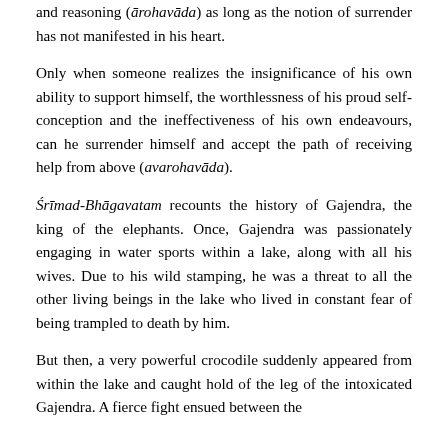and reasoning (ārohavāda) as long as the notion of surrender has not manifested in his heart.
Only when someone realizes the insignificance of his own ability to support himself, the worthlessness of his proud self-conception and the ineffectiveness of his own endeavours, can he surrender himself and accept the path of receiving help from above (avarohavāda).
Śrīmad-Bhāgavatam recounts the history of Gajendra, the king of the elephants. Once, Gajendra was passionately engaging in water sports within a lake, along with all his wives. Due to his wild stamping, he was a threat to all the other living beings in the lake who lived in constant fear of being trampled to death by him.
But then, a very powerful crocodile suddenly appeared from within the lake and caught hold of the leg of the intoxicated Gajendra. A fierce fight ensued between the